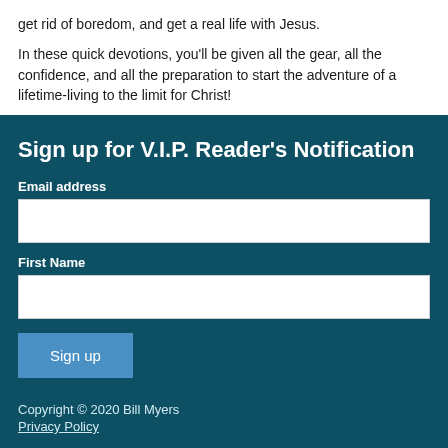get rid of boredom, and get a real life with Jesus.
In these quick devotions, you'll be given all the gear, all the confidence, and all the preparation to start the adventure of a lifetime-living to the limit for Christ!
Sign up for V.I.P. Reader's Notification
Email address
First Name
Sign up
Copyright © 2020 Bill Myers
Privacy Policy